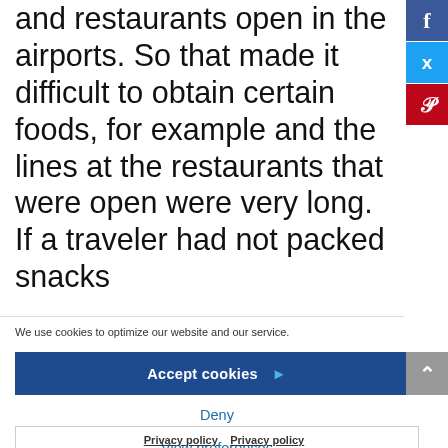and restaurants open in the airports. So that made it difficult to obtain certain foods, for example and the lines at the restaurants that were open were very long. If a traveler had not packed snacks
We use cookies to optimize our website and our service.
Accept cookies
Deny
View preferences
Privacy policy  Privacy policy